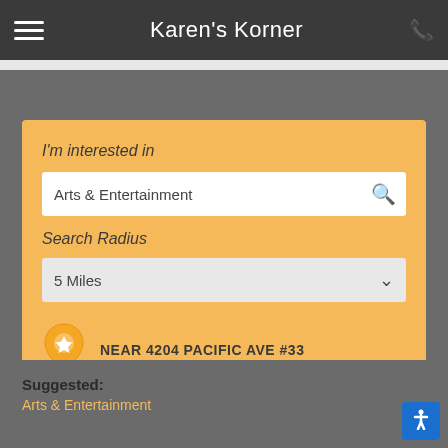Karen's Korner
Parking Condiments College Lot – Please call for parking info
I'm interested in
Arts & Entertainment
Search Radius
5 Miles
near 4204 PACIFIC AVE #33
Suggested:
Arts & Entertainment